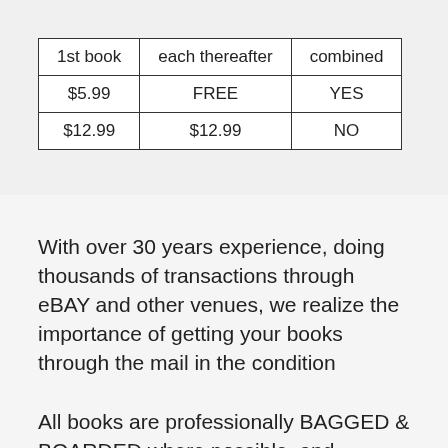| 1st book | each thereafter | combined |
| --- | --- | --- |
| $5.99 | FREE | YES |
| $12.99 | $12.99 | NO |
With over 30 years experience, doing thousands of transactions through eBAY and other venues, we realize the importance of getting your books through the mail in the condition promised to you.
All books are professionally BAGGED & BOARDED where possible, and wrapped using